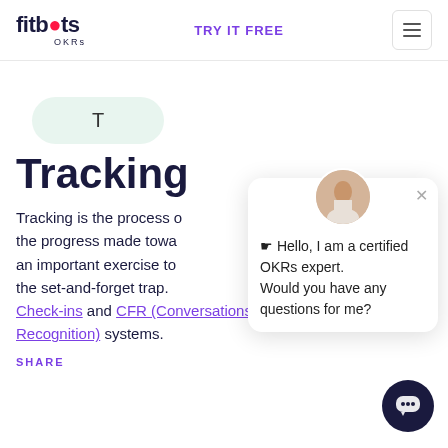fitbots OKRs | TRY IT FREE
T
Tracking
Tracking is the process of measuring the progress made towards OKRs. It is an important exercise to help teams avoid the set-and-forget trap. Check-ins and CFR (Conversations, Feedback and Recognition) systems.
SHARE
[Figure (screenshot): Chat popup with avatar of a woman, close button X, and text: Hello, I am a certified OKRs expert. Would you have any questions for me?]